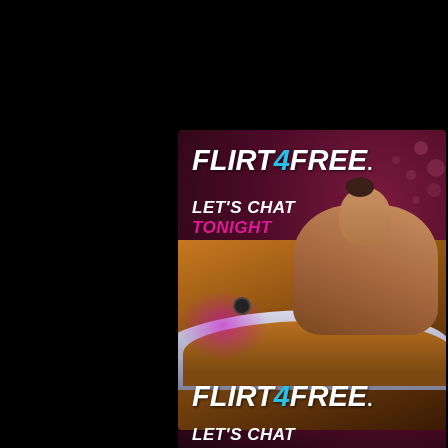[Figure (advertisement): Flirt4Free adult chat service advertisement. Dark magenta/purple background with polka dot pattern. Logo reads FLIRT4FREE with the 4 in cyan/blue. Tagline: LET'S CHAT TONIGHT where TONIGHT is in pink/magenta. Photo of a young woman in a bathtub with warm amber lighting and purple glow.]
[Figure (advertisement): Partial second repetition of the same Flirt4Free advertisement showing the logo and beginning of the LET'S CHAT tagline, cropped at the bottom of the page.]